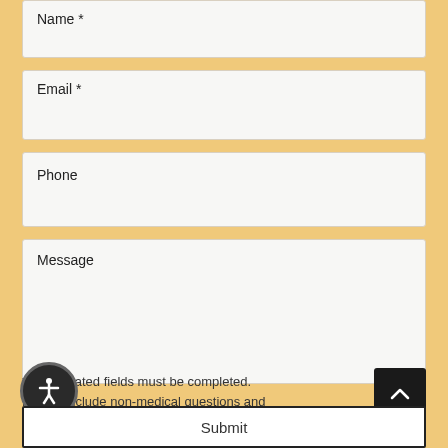Name *
Email *
Phone
Message
* All indicated fields must be completed. Please include non-medical questions and correspondence only.
Submit